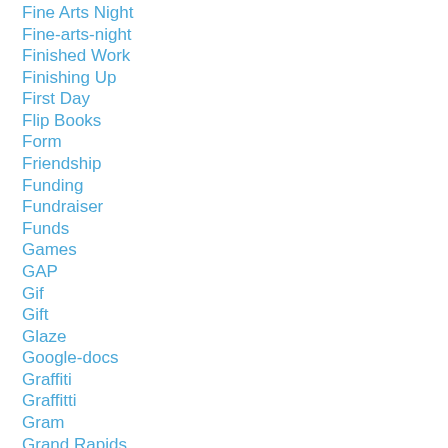Fine Arts Night
Fine-arts-night
Finished Work
Finishing Up
First Day
Flip Books
Form
Friendship
Funding
Fundraiser
Funds
Games
GAP
Gif
Gift
Glaze
Google-docs
Graffiti
Graffitti
Gram
Grand Rapids